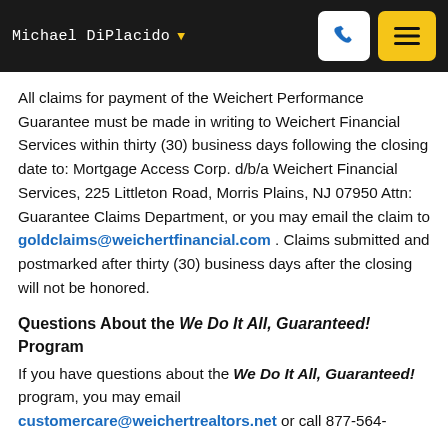Michael DiPlacido
All claims for payment of the Weichert Performance Guarantee must be made in writing to Weichert Financial Services within thirty (30) business days following the closing date to: Mortgage Access Corp. d/b/a Weichert Financial Services, 225 Littleton Road, Morris Plains, NJ 07950 Attn: Guarantee Claims Department, or you may email the claim to goldclaims@weichertfinancial.com . Claims submitted and postmarked after thirty (30) business days after the closing will not be honored.
Questions About the We Do It All, Guaranteed! Program
If you have questions about the We Do It All, Guaranteed! program, you may email customercare@weichertrealtors.net or call 877-564-